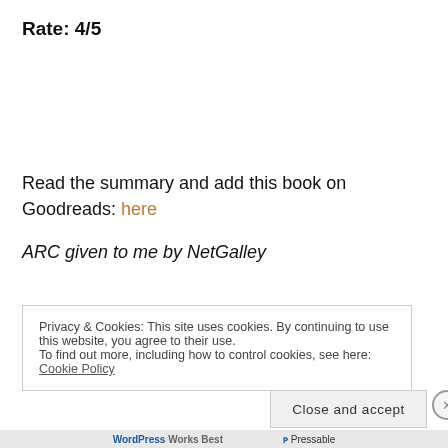Rate: 4/5
Read the summary and add this book on Goodreads: here
ARC given to me by NetGalley
Privacy & Cookies: This site uses cookies. By continuing to use this website, you agree to their use.
To find out more, including how to control cookies, see here: Cookie Policy
Close and accept
WordPress Works Best   Pressable